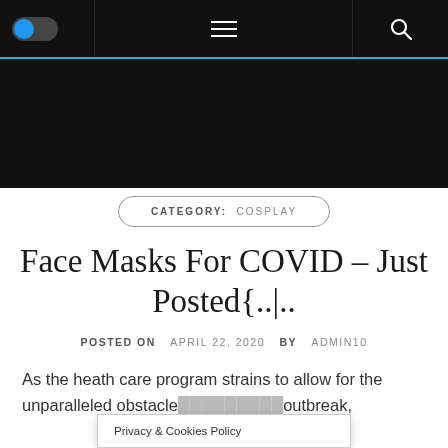Toggle | Menu | Search
[Figure (screenshot): Black banner/hero area below nav bar]
CATEGORY: COSPLAY
Face Masks For COVID – Just Posted{..|..
POSTED ON APRIL 22, 2020 BY ADMIN10
As the heath care program strains to allow for the unparalleled obstacle outbreak,
Privacy & Cookies Policy